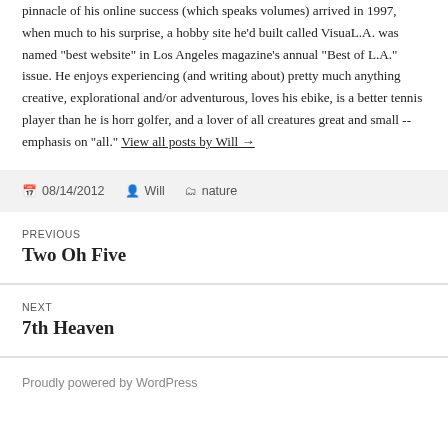pinnacle of his online success (which speaks volumes) arrived in 1997, when much to his surprise, a hobby site he'd built called VisuaL.A. was named "best website" in Los Angeles magazine's annual "Best of L.A." issue. He enjoys experiencing (and writing about) pretty much anything creative, explorational and/or adventurous, loves his ebike, is a better tennis player than he is horr golfer, and a lover of all creatures great and small -- emphasis on "all." View all posts by Will →
08/14/2012 Will nature
PREVIOUS Two Oh Five
NEXT 7th Heaven
Proudly powered by WordPress